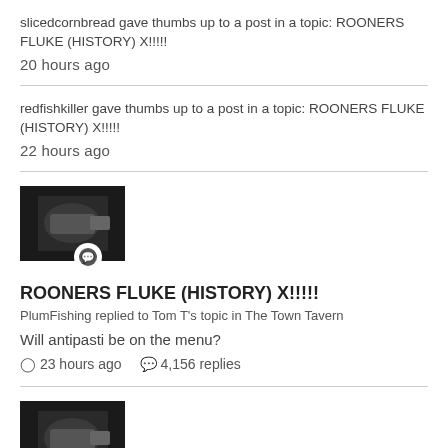slicedcornbread gave thumbs up to a post in a topic: ROONERS FLUKE (HISTORY) X!!!!!
20 hours ago
redfishkiller gave thumbs up to a post in a topic: ROONERS FLUKE (HISTORY) X!!!!!
22 hours ago
[Figure (photo): Dark thumbnail image with a comment badge icon overlay]
ROONERS FLUKE (HISTORY) X!!!!!
PlumFishing replied to Tom T's topic in The Town Tavern

Will antipasti be on the menu?

23 hours ago   4,156 replies
[Figure (photo): Dark thumbnail image with a comment badge icon overlay]
ROONERS FLUKE (HISTORY) X!!!!!